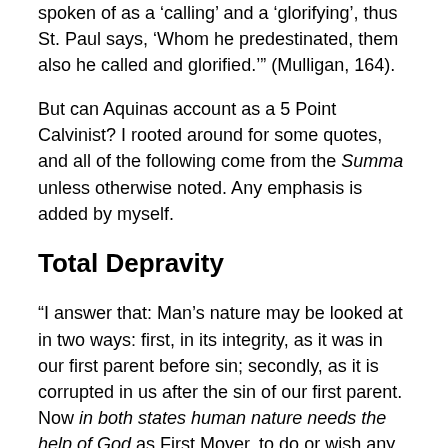spoken of as a 'calling' and a 'glorifying', thus St. Paul says, 'Whom he predestinated, them also he called and glorified.'" (Mulligan, 164).
But can Aquinas account as a 5 Point Calvinist? I rooted around for some quotes, and all of the following come from the Summa unless otherwise noted. Any emphasis is added by myself.
Total Depravity
“I answer that: Man’s nature may be looked at in two ways: first, in its integrity, as it was in our first parent before sin; secondly, as it is corrupted in us after the sin of our first parent. Now in both states human nature needs the help of God as First Mover, to do or wish any good whatsoever, as stated above. But in the state of integrity, as regards